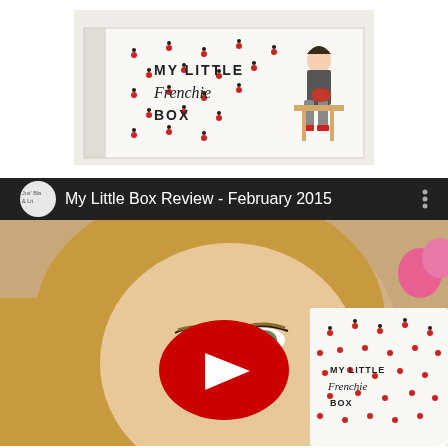[Figure (photo): Photo of a 'My Little Frenchie Box' subscription box with white background decorated with small red and black cherry motifs. Text reads 'MY LITTLE Frenchie BOX'. A fashion illustration of a woman is visible on the right side of the box.]
[Figure (screenshot): YouTube video thumbnail/embed for 'My Little Box Review - February 2015'. Shows a smiling blonde woman with red lipstick holding the My Little Frenchie Box. A red YouTube play button is centered on the image. The video channel shows a circular logo. The title bar reads 'My Little Box Review - February 2015' with a three-dot menu icon.]